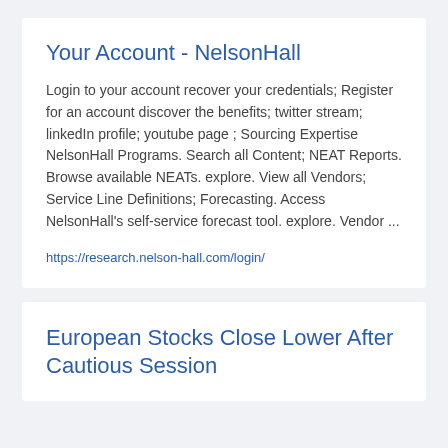Your Account - NelsonHall
Login to your account recover your credentials; Register for an account discover the benefits; twitter stream; linkedIn profile; youtube page ; Sourcing Expertise NelsonHall Programs. Search all Content; NEAT Reports. Browse available NEATs. explore. View all Vendors; Service Line Definitions; Forecasting. Access NelsonHall's self-service forecast tool. explore. Vendor ...
https://research.nelson-hall.com/login/
European Stocks Close Lower After Cautious Session